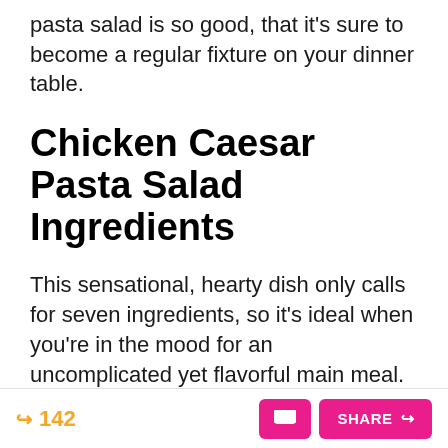pasta salad is so good, that it's sure to become a regular fixture on your dinner table.
Chicken Caesar Pasta Salad Ingredients
This sensational, hearty dish only calls for seven ingredients, so it's ideal when you're in the mood for an uncomplicated yet flavorful main meal.
To make this chicken Caesar pasta salad, you'll
↪ 142   [comment button] SHARE ↪